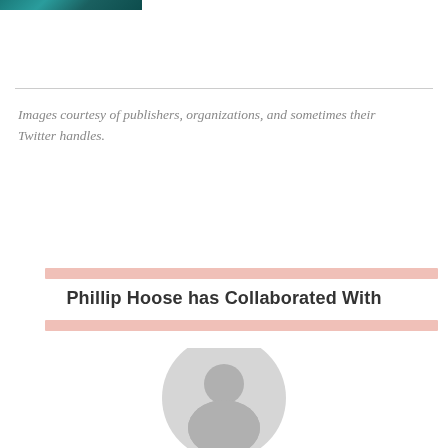[Figure (photo): Partial image of book covers or teal/dark colored graphic at top left corner]
Images courtesy of publishers, organizations, and sometimes their Twitter handles.
Phillip Hoose has Collaborated With
[Figure (illustration): Generic grey user avatar/profile placeholder icon — circular silhouette of a person]